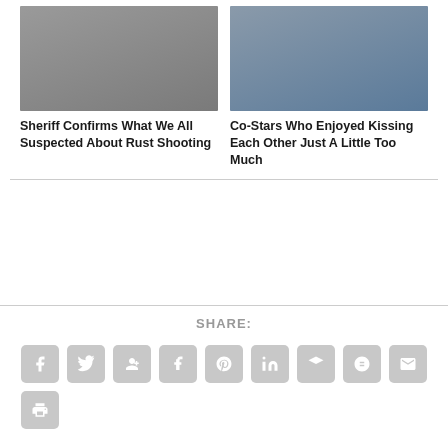[Figure (photo): Photo of a middle-aged man with gray hair and beard, looking at camera]
Sheriff Confirms What We All Suspected About Rust Shooting
[Figure (photo): Photo of two people, one kissing the other on the cheek]
Co-Stars Who Enjoyed Kissing Each Other Just A Little Too Much
SHARE:
[Figure (infographic): Social share buttons: Facebook, Twitter, Google+, Tumblr, Pinterest, LinkedIn, Buffer, StumbleUpon, Email, Print]